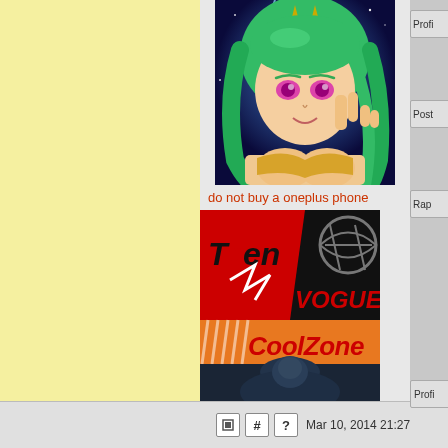[Figure (illustration): Anime character with teal/green hair making a peace sign, wearing a gold/yellow bikini top, with purple eyes and lightning effects in background]
do not buy a oneplus phone
[Figure (illustration): Teen Vogue logo combined with CoolZone branding — red and black Teen Vogue magazine logo on top, orange CoolZone racing-style banner below, with a dark photo of a person at the bottom]
Mar 10, 2014 21:27